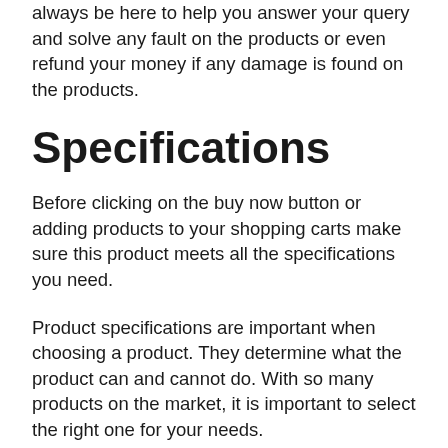always be here to help you answer your query and solve any fault on the products or even refund your money if any damage is found on the products.
Specifications
Before clicking on the buy now button or adding products to your shopping carts make sure this product meets all the specifications you need.
Product specifications are important when choosing a product. They determine what the product can and cannot do. With so many products on the market, it is important to select the right one for your needs.